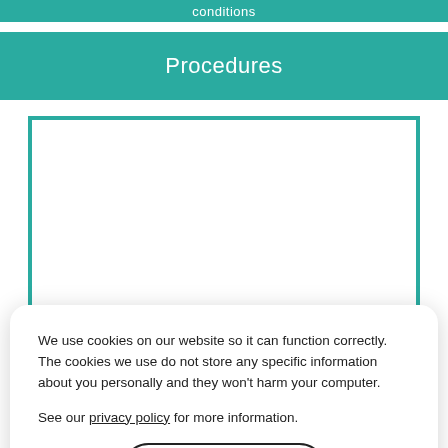conditions
Procedures
[Figure (other): Embedded video player area with teal border, white background, and Fort Worth Orthopaedics watermark]
We use cookies on our website so it can function correctly. The cookies we use do not store any specific information about you personally and they won’t harm your computer.

See our privacy policy for more information.
Accept